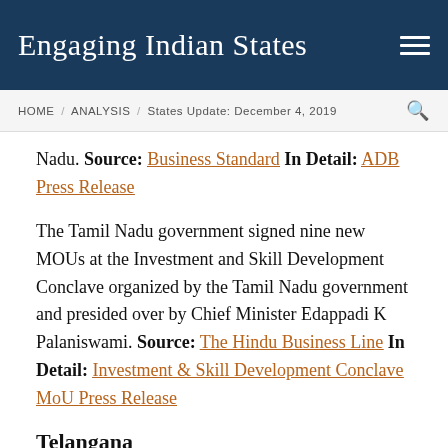Engaging Indian States
HOME / ANALYSIS / States Update: December 4, 2019
Nadu. Source: Business Standard In Detail: ADB Press Release
The Tamil Nadu government signed nine new MOUs at the Investment and Skill Development Conclave organized by the Tamil Nadu government and presided over by Chief Minister Edappadi K Palaniswami. Source: The Hindu Business Line In Detail: Investment & Skill Development Conclave MoU Press Release
Telangana